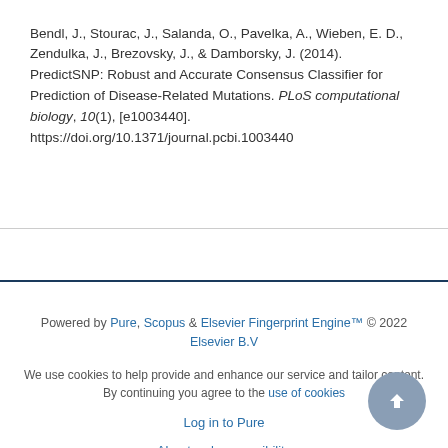Bendl, J., Stourac, J., Salanda, O., Pavelka, A., Wieben, E. D., Zendulka, J., Brezovsky, J., & Damborsky, J. (2014). PredictSNP: Robust and Accurate Consensus Classifier for Prediction of Disease-Related Mutations. PLoS computational biology, 10(1), [e1003440]. https://doi.org/10.1371/journal.pcbi.1003440
Powered by Pure, Scopus & Elsevier Fingerprint Engine™ © 2022 Elsevier B.V
We use cookies to help provide and enhance our service and tailor content. By continuing you agree to the use of cookies
Log in to Pure
About web accessibility
Contact us